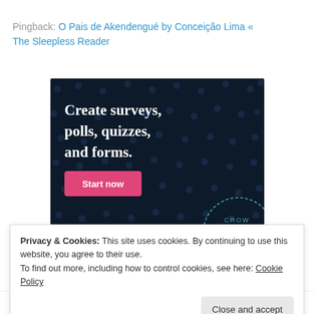Pingback: O Pais de Akendengué by Conceição Lima « The Sleepless Reader
[Figure (illustration): Dark navy blue advertisement banner for a survey/form creation tool. White bold serif text reads 'Create surveys, polls, quizzes, and forms.' with a pink 'Start now' button below. A partial circular Crowd logo appears at bottom right.]
Privacy & Cookies: This site uses cookies. By continuing to use this website, you agree to their use.
To find out more, including how to control cookies, see here: Cookie Policy
Close and accept
akumbu on August 11, 2012 at 6:30 pm